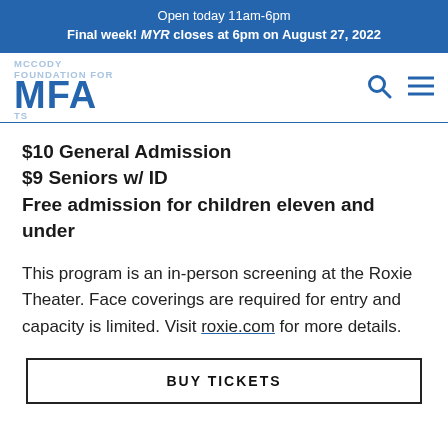Open today 11am-6pm
Final week! MYR closes at 6pm on August 27, 2022
[Figure (logo): MFA logo with McCoy Foundation For Arts text]
$10 General Admission
$9 Seniors w/ ID
Free admission for children eleven and under
This program is an in-person screening at the Roxie Theater. Face coverings are required for entry and capacity is limited. Visit roxie.com for more details.
BUY TICKETS